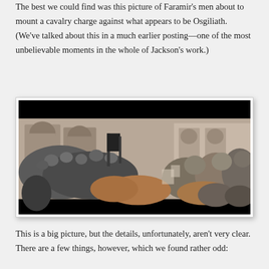The best we could find was this picture of Faramir's men about to mount a cavalry charge against what appears to be Osgiliath.  (We've talked about this in a much earlier posting—one of the most unbelievable moments in the whole of Jackson's work.)
[Figure (photo): A still from a film showing armored soldiers on horseback preparing for a cavalry charge in a ruined city setting, likely Osgiliath from The Lord of the Rings.]
This is a big picture, but the details, unfortunately, aren't very clear.  There are a few things, however, which we found rather odd: